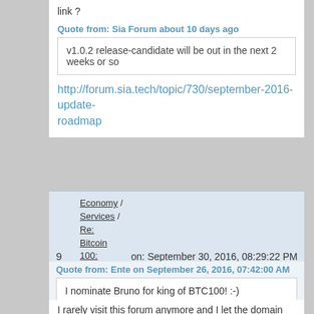link ?
Quote from: Sia Forum about 10 days ago
v1.0.2 release-candidate will be out in the next 2 weeks or so
http://forum.sia.tech/topic/730/september-2016-update-roadmap
9  Economy / Services / Re: Bitcoin 100: Developed Specifically for Non-Profits  on: September 30, 2016, 08:29:22 PM
Quote from: Ente on September 26, 2016, 07:42:00 AM
I nominate Bruno for king of BTC100! :-)

Bruno, what should we do at this point?
I propose we either follow up on the original mission, or shut it down.

Ente
I rarely visit this forum anymore and I let the domain